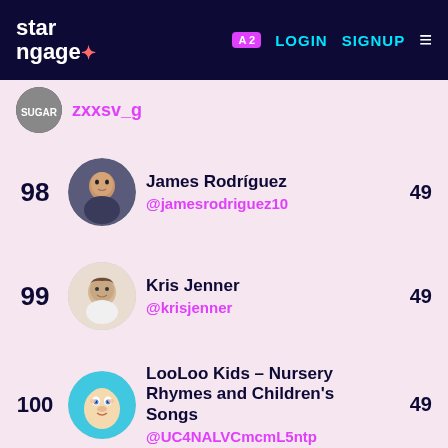starngage+ | LOGIN SIGNUP
zxxsv_g
98 James Rodríguez @jamesrodriguez10 49
99 Kris Jenner @krisjenner 49
100 LooLoo Kids - Nursery Rhymes and Children's Songs @UC4NALVCmcmL5ntp 49